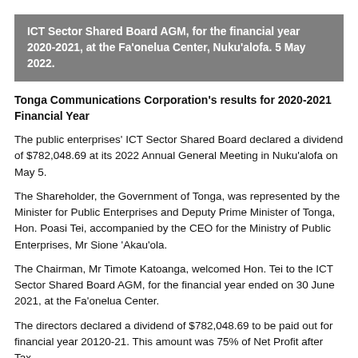ICT Sector Shared Board AGM, for the financial year 2020-2021, at the Fa'onelua Center, Nuku'alofa. 5 May 2022.
Tonga Communications Corporation's results for 2020-2021 Financial Year
The public enterprises' ICT Sector Shared Board declared a dividend of $782,048.69 at its 2022 Annual General Meeting in Nuku'alofa on May 5.
The Shareholder, the Government of Tonga, was represented by the Minister for Public Enterprises and Deputy Prime Minister of Tonga, Hon. Poasi Tei, accompanied by the CEO for the Ministry of Public Enterprises, Mr Sione 'Akau'ola.
The Chairman, Mr Timote Katoanga, welcomed Hon. Tei to the ICT Sector Shared Board AGM, for the financial year ended on 30 June 2021, at the Fa'onelua Center.
The directors declared a dividend of $782,048.69 to be paid out for financial year 20120-21. This amount was 75% of Net Profit after Tax.
The Chairman of the Board, Mr Timote Katoanga, presented the dividend to the shareholder, while the amount was electronically transferred live